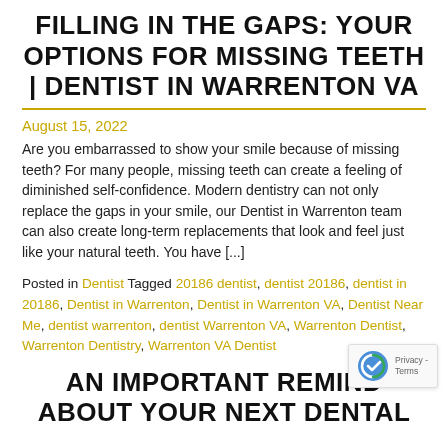FILLING IN THE GAPS: YOUR OPTIONS FOR MISSING TEETH | DENTIST IN WARRENTON VA
August 15, 2022
Are you embarrassed to show your smile because of missing teeth? For many people, missing teeth can create a feeling of diminished self-confidence. Modern dentistry can not only replace the gaps in your smile, our Dentist in Warrenton team can also create long-term replacements that look and feel just like your natural teeth. You have [...]
Posted in Dentist Tagged 20186 dentist, dentist 20186, dentist in 20186, Dentist in Warrenton, Dentist in Warrenton VA, Dentist Near Me, dentist warrenton, dentist Warrenton VA, Warrenton Dentist, Warrenton Dentistry, Warrenton VA Dentist
AN IMPORTANT REMINDER ABOUT YOUR NEXT DENTAL